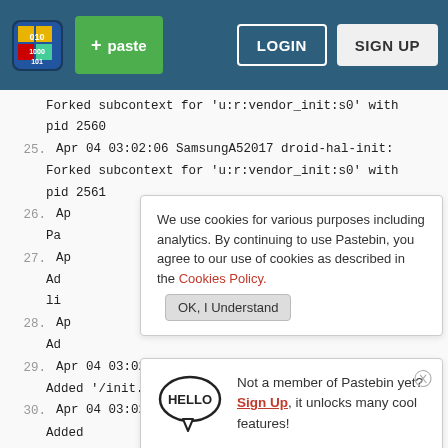[Figure (screenshot): Pastebin website header with logo, paste button, login and sign up buttons on dark teal background]
Forked subcontext for 'u:r:vendor_init:s0' with pid 2560
25. Apr 04 03:02:06 SamsungA52017 droid-hal-init: Forked subcontext for 'u:r:vendor_init:s0' with pid 2561
26. Ap Pa
27. Ap Ad li
We use cookies for various purposes including analytics. By continuing to use Pastebin, you agree to our use of cookies as described in the Cookies Policy. OK, I Understand
28. Ap Ad
Not a member of Pastebin yet? Sign Up, it unlocks many cool features!
29. Apr 04 03:02:06 SamsungA52017 droid-hal-init: Added '/init.samsungexynos7880.rc' to import list
30. Apr 04 03:02:06 SamsungA52017 droid-hal-init: Added